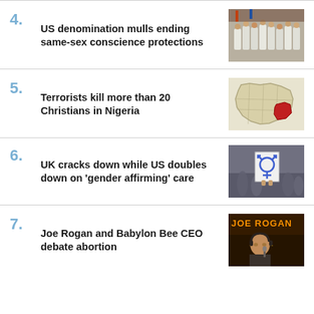4. US denomination mulls ending same-sex conscience protections
5. Terrorists kill more than 20 Christians in Nigeria
6. UK cracks down while US doubles down on 'gender affirming' care
7. Joe Rogan and Babylon Bee CEO debate abortion